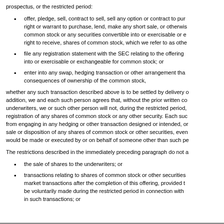prospectus, or the restricted period:
offer, pledge, sell, contract to sell, sell any option or contract to purchase, right or warrant to purchase, lend, make any short sale, or otherwise dispose of, common stock or any securities convertible into or exercisable or exchangeable or right to receive, shares of common stock, which we refer to as other
file any registration statement with the SEC relating to the offering of shares convertible into or exercisable or exchangeable for common stock; or
enter into any swap, hedging transaction or other arrangement that consequences of ownership of the common stock,
whether any such transaction described above is to be settled by delivery of addition, we and each such person agrees that, without the prior written consent of underwriters, we or such other person will not, during the restricted period, registration of any shares of common stock or any other security. Each such from engaging in any hedging or other transaction designed or intended, or sale or disposition of any shares of common stock or other securities, even if would be made or executed by or on behalf of someone other than such person.
The restrictions described in the immediately preceding paragraph do not apply to:
the sale of shares to the underwriters; or
transactions relating to shares of common stock or other securities acquired in open market transactions after the completion of this offering, provided that no filing shall be voluntarily made during the restricted period in connection with subsequent sales in such transactions; or